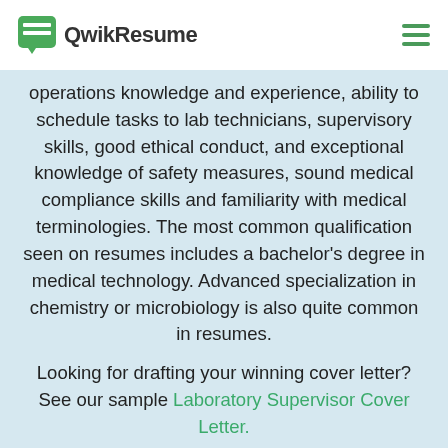QwikResume
operations knowledge and experience, ability to schedule tasks to lab technicians, supervisory skills, good ethical conduct, and exceptional knowledge of safety measures, sound medical compliance skills and familiarity with medical terminologies. The most common qualification seen on resumes includes a bachelor's degree in medical technology. Advanced specialization in chemistry or microbiology is also quite common in resumes.
Looking for drafting your winning cover letter? See our sample Laboratory Supervisor Cover Letter.
[Figure (screenshot): Preview of a Robert Smith Laboratory Supervisor resume showing summary, core competencies, professional experience sections with bullet points]